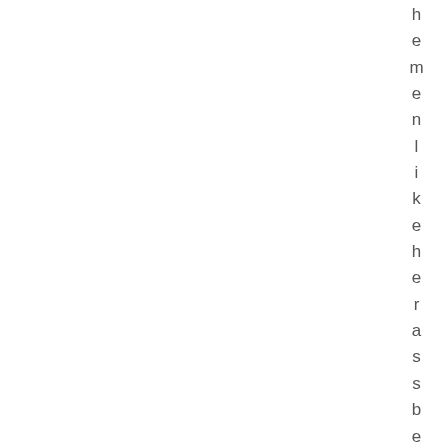hemenlikeheras sbecause she is asup